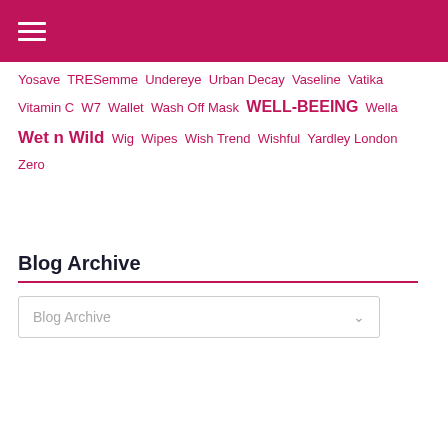Navigation header bar with hamburger menu
Yosave TRESemme Undereye Urban Decay Vaseline Vatika Vitamin C W7 Wallet Wash Off Mask WELL-BEEING Wella Wet n Wild Wig Wipes Wish Trend Wishful Yardley London Zero
Blog Archive
[Figure (other): Blog Archive dropdown selector with chevron arrow]